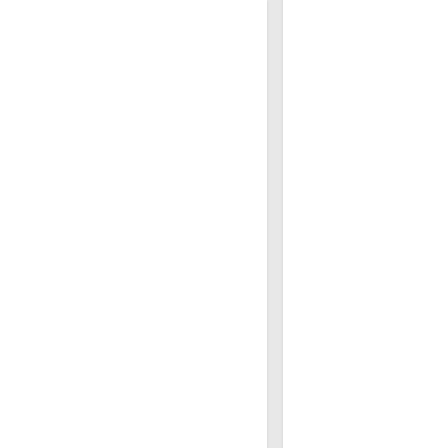Just go on......
2 minute read | Mar 14th, 2014 | Poetry
I am ready to fly
2 minute read | Mar 25th, 2014 | Poetry
Tomorrow may never